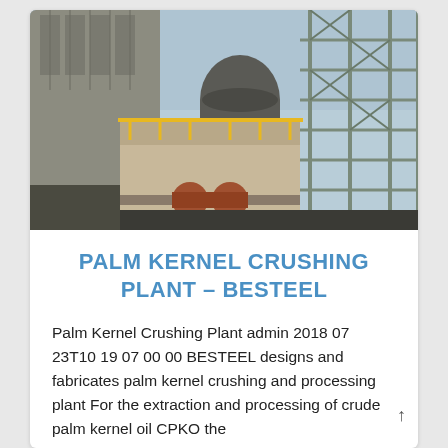[Figure (photo): Industrial palm kernel crushing plant facility showing large concrete structures, steel scaffolding, pipes, and yellow safety railings under a blue sky.]
PALM KERNEL CRUSHING PLANT – BESTEEL
Palm Kernel Crushing Plant admin 2018 07 23T10 19 07 00 00 BESTEEL designs and fabricates palm kernel crushing and processing plant For the extraction and processing of crude palm kernel oil CPKO the